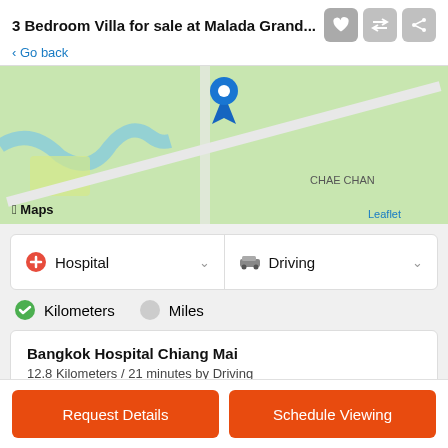3 Bedroom Villa for sale at Malada Grand...
< Go back
[Figure (map): Apple Maps map showing green terrain with a blue location pin marker and roads, with 'CHAE CHANG' label and 'Leaflet' attribution in bottom right.]
Hospital (dropdown) | Driving (dropdown)
Kilometers (selected) | Miles
Bangkok Hospital Chiang Mai
12.8 Kilometers / 21 minutes by Driving
Request Details
Schedule Viewing